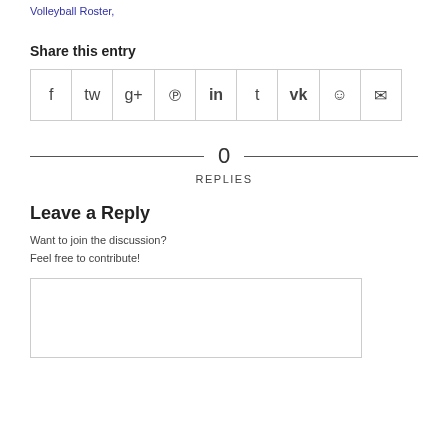Volleyball Roster,
Share this entry
[Figure (infographic): Row of 9 social share icon buttons: Facebook (f), Twitter, Google+, Pinterest, LinkedIn (in), Tumblr (t), VK, Reddit, Email]
0
REPLIES
Leave a Reply
Want to join the discussion?
Feel free to contribute!
[Figure (other): Empty comment text input box]